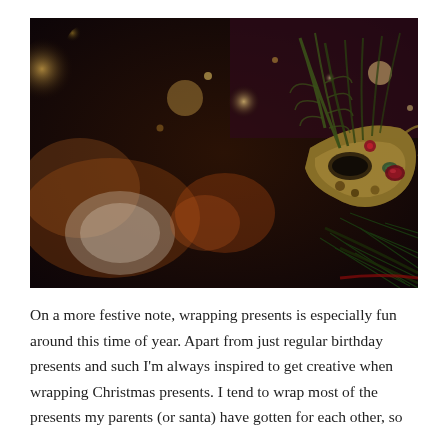[Figure (photo): A close-up photograph of an ornate Venetian-style masquerade mask with feathers and gemstones, hanging on a Christmas tree with pine branches and bokeh lights in the background. Dark, moody tones with gold and green hues.]
On a more festive note, wrapping presents is especially fun around this time of year. Apart from just regular birthday presents and such I'm always inspired to get creative when wrapping Christmas presents. I tend to wrap most of the presents my parents (or santa) have gotten for each other, so